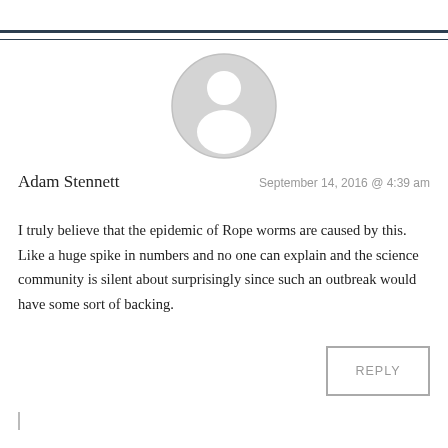[Figure (illustration): Generic user avatar: a grey circle containing a white silhouette of a person (head and shoulders)]
Adam Stennett
September 14, 2016 @ 4:39 am
I truly believe that the epidemic of Rope worms are caused by this. Like a huge spike in numbers and no one can explain and the science community is silent about surprisingly since such an outbreak would have some sort of backing.
REPLY